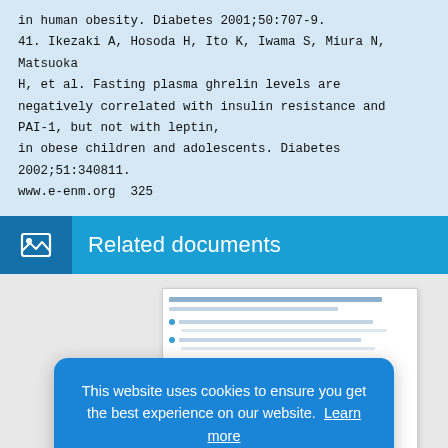in human obesity. Diabetes 2001;50:707-9.
41. Ikezaki A, Hosoda H, Ito K, Iwama S, Miura N, Matsuoka
H, et al. Fasting plasma ghrelin levels are
negatively correlated with insulin resistance and
PAI-1, but not with leptin,
in obese children and adolescents. Diabetes
2002;51:340811.
www.e-enm.org  325
Related documents
[Figure (screenshot): Thumbnail preview of a related document showing text lines and bullet points.]
This website uses cookies to ensure you get the best experience on our website. Learn more
Decline   Allow cookies